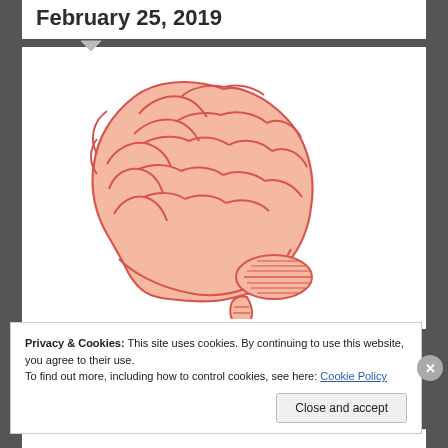February 25, 2019
[Figure (illustration): Side-view illustration of a human brain in salmon/coral pink tones with red outlines showing gyri and sulci, cerebellum visible at lower right, brain stem at bottom.]
Privacy & Cookies: This site uses cookies. By continuing to use this website, you agree to their use.
To find out more, including how to control cookies, see here: Cookie Policy
Close and accept